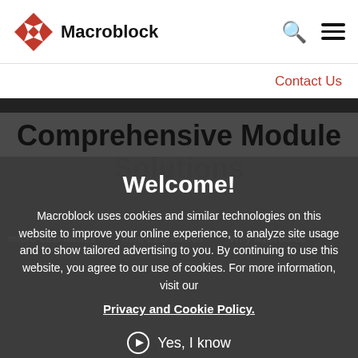Macroblock
Contact Us
Comprehensive Module Solutions
Welcome!
micro-LED basics · mini-LED basics · Why Macroblock
Macroblock uses cookies and similar technologies on this website to improve your online experience, to analyze site usage and to show tailored advertising to you. By continuing to use this website, you agree to our use of cookies. For more information, visit our Privacy and Cookie Policy.
Yes, I know